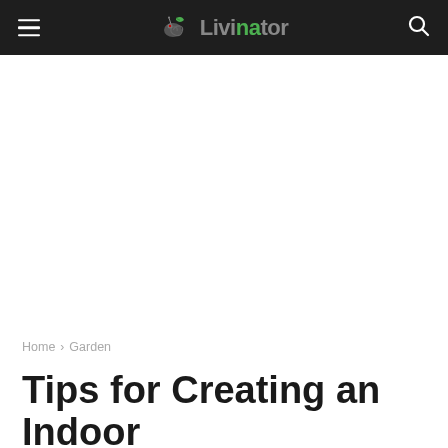Livinator
Home › Garden
Tips for Creating an Indoor